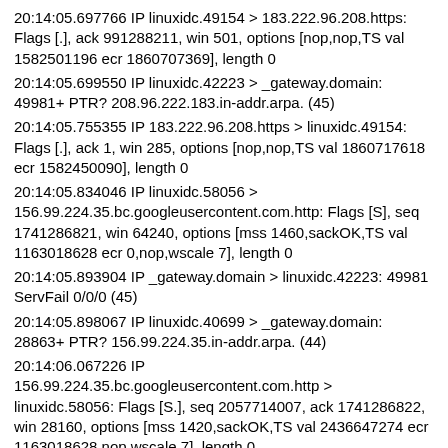20:14:05.697766 IP linuxidc.49154 > 183.222.96.208.https: Flags [.], ack 991288211, win 501, options [nop,nop,TS val 1582501196 ecr 1860707369], length 0
20:14:05.699550 IP linuxidc.42223 > _gateway.domain: 49981+ PTR? 208.96.222.183.in-addr.arpa. (45)
20:14:05.755355 IP 183.222.96.208.https > linuxidc.49154: Flags [.], ack 1, win 285, options [nop,nop,TS val 1860717618 ecr 1582450090], length 0
20:14:05.834046 IP linuxidc.58056 > 156.99.224.35.bc.googleusercontent.com.http: Flags [S], seq 1741286821, win 64240, options [mss 1460,sackOK,TS val 1163018628 ecr 0,nop,wscale 7], length 0
20:14:05.893904 IP _gateway.domain > linuxidc.42223: 49981 ServFail 0/0/0 (45)
20:14:05.898067 IP linuxidc.40699 > _gateway.domain: 28863+ PTR? 156.99.224.35.in-addr.arpa. (44)
20:14:06.067226 IP 156.99.224.35.bc.googleusercontent.com.http > linuxidc.58056: Flags [S.], seq 2057714007, ack 1741286822, win 28160, options [mss 1420,sackOK,TS val 2436647274 ecr 1163018628,nop,wscale 7], length 0
20:14:06.067271 IP linuxidc.58056 > 156.99.224.35.bc.googleusercontent.com.http: Flags [.], ack 1, win 502, options [nop,nop,TS val 1163018861 ecr 2436647274], length 0